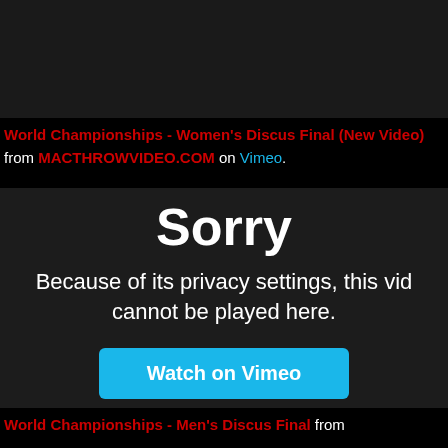[Figure (screenshot): Dark video player thumbnail at top of page]
World Championships - Women's Discus Final (New Video) from MACTHROWVIDEO.COM on Vimeo.
[Figure (screenshot): Vimeo embedded video player showing error: 'Sorry - Because of its privacy settings, this video cannot be played here.' with a 'Watch on Vimeo' button]
World Championships - Men's Discus Final from